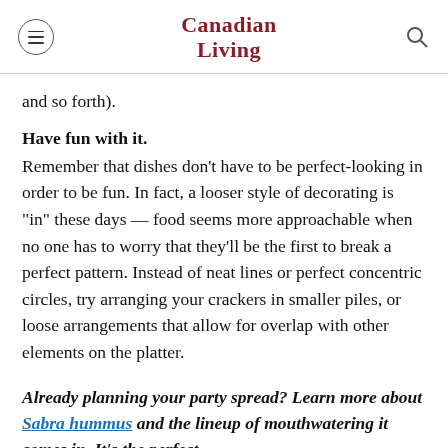Canadian Living
and so forth).
Have fun with it.
Remember that dishes don’t have to be perfect-looking in order to be fun. In fact, a looser style of decorating is “in” these days — food seems more approachable when no one has to worry that they’ll be the first to break a perfect pattern. Instead of neat lines or perfect concentric circles, try arranging your crackers in smaller piles, or loose arrangements that allow for overlap with other elements on the platter.
Already planning your party spread? Learn more about Sabra hummus and the lineup of mouthwatering it comes in. It’s the perfect addition to your party platter.